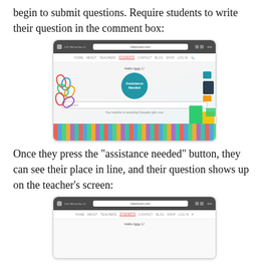begin to submit questions. Require students to write their question in the comment box:
[Figure (screenshot): Screenshot of a tablet browser showing a classroom assistance website. A large blue circular 'Assistance Needed' button is visible in the center, with a Comment input field below it and text 'Your teacher is assisting # people right now.' School supplies (paperclips, pencils, sticky notes) are visible in the background.]
Once they press the "assistance needed" button, they can see their place in line, and their question shows up on the teacher's screen:
[Figure (screenshot): Partial screenshot of the same classroom assistance website showing 'Hello Iggy L!' greeting and navigation bar, representing the view after pressing the assistance needed button.]